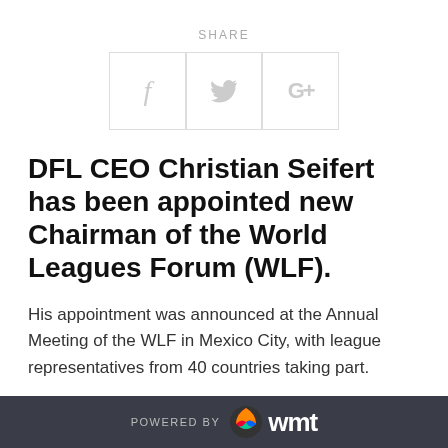SHARE
[Figure (other): Social share icons for Facebook, Twitter, and Google+]
DFL CEO Christian Seifert has been appointed new Chairman of the World Leagues Forum (WLF).
His appointment was announced at the Annual Meeting of the WLF in Mexico City, with league representatives from 40 countries taking part.
Seifert succeeds Richard Scudamore, Executive Chairman of the English Premier League, who is
POWERED BY wmt